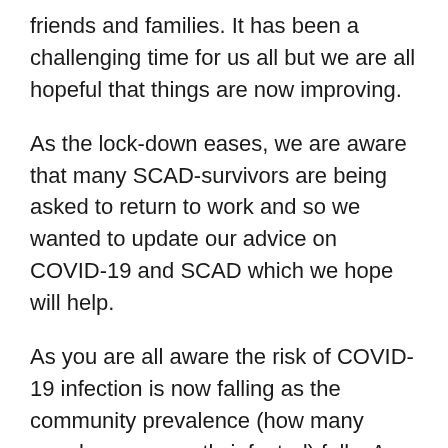friends and families. It has been a challenging time for us all but we are all hopeful that things are now improving.
As the lock-down eases, we are aware that many SCAD-survivors are being asked to return to work and so we wanted to update our advice on COVID-19 and SCAD which we hope will help.
As you are all aware the risk of COVID-19 infection is now falling as the community prevalence (how many people are currently infected) falls. As such the government, advised by Public Health England, have begun easing restrictions. For most SCAD-survivors (who do not have other major health issues and who have normal or near normal heart function), the risk of complications arising from the COVID-19 infection is likely to be very close to people who have not had SCAD. This is distinct from the high risk patients (the elderly with and those with multiple or severe health